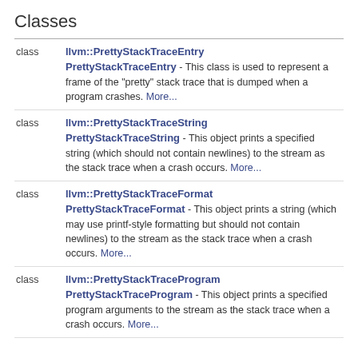Classes
class  llvm::PrettyStackTraceEntry  PrettyStackTraceEntry - This class is used to represent a frame of the "pretty" stack trace that is dumped when a program crashes. More...
class  llvm::PrettyStackTraceString  PrettyStackTraceString - This object prints a specified string (which should not contain newlines) to the stream as the stack trace when a crash occurs. More...
class  llvm::PrettyStackTraceFormat  PrettyStackTraceFormat - This object prints a string (which may use printf-style formatting but should not contain newlines) to the stream as the stack trace when a crash occurs. More...
class  llvm::PrettyStackTraceProgram  PrettyStackTraceProgram - This object prints a specified program arguments to the stream as the stack trace when a crash occurs. More...